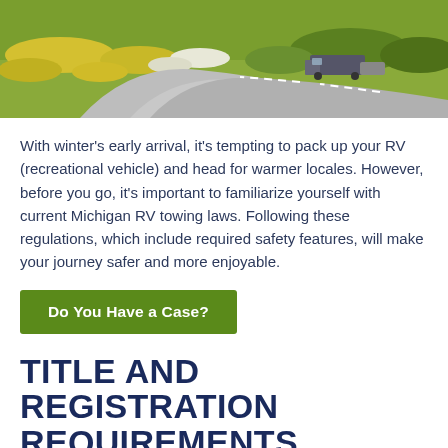[Figure (photo): Aerial/road-level photo of an RV being towed on a winding road through green and yellow wildflower meadows in summer]
With winter's early arrival, it's tempting to pack up your RV (recreational vehicle) and head for warmer locales. However, before you go, it's important to familiarize yourself with current Michigan RV towing laws. Following these regulations, which include required safety features, will make your journey safer and more enjoyable.
Do You Have a Case?
TITLE AND REGISTRATION REQUIREMENTS